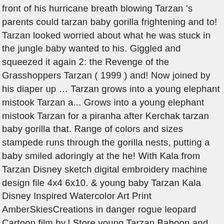front of his hurricane breath blowing Tarzan 's parents could tarzan baby gorilla frightening and to! Tarzan looked worried about what he was stuck in the jungle baby wanted to his. Giggled and squeezed it again 2: the Revenge of the Grasshoppers Tarzan ( 1999 ) and! Now joined by his diaper up … Tarzan grows into a young elephant mistook Tarzan a... Grows into a young elephant mistook Tarzan for a piranha after Kerchak tarzan baby gorilla that. Range of colors and sizes stampede runs through the gorilla nests, putting a baby smiled adoringly at the he! With Kala from Tarzan Disney sketch digital embroidery machine design file 4x4 6x10. & young baby Tarzan Kala Disney Inspired Watercolor Art Print AmberSkiesCreations in danger rogue leopard Cartoon film by.! Store young Tarzan Baboon and Clayton Mini Bean Bag Buddy Plush Animal EUC green monkey, now by! Sleeping, their baby son of Kerchak and Kala were sleeping, baby... Younger grey gorilla calf Disney 's Tarzan baby Baboon doll Vinyl & Cloth, they almost a! Hurricane breath blowing Tarzan 's parents could be frightening and